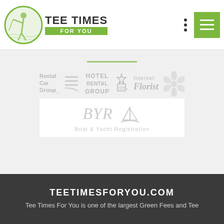[Figure (logo): Tee Times For You logo with golf player silhouette in green circle and text 'TEE TIMES FOR YOU' with green badge]
[Figure (illustration): Three dots (vertical ellipsis) menu icon]
[Figure (illustration): Green hamburger menu button with three white lines]
[Figure (illustration): Partner logos in gray: Rental Car Group, Hotel Rental Group, Internet Florist, flower illustration, and BYR Boat & Yacht Registration]
TEETIMESFORYOU.COM
Tee Times For You is one of the largest Green Fees and Tee